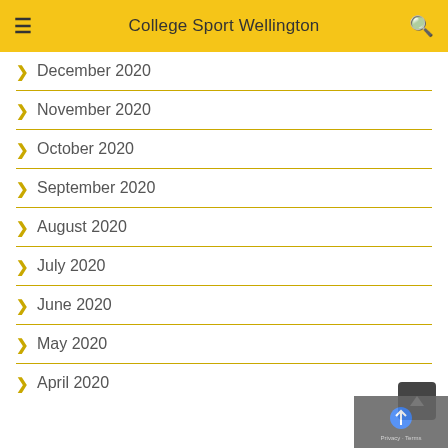College Sport Wellington
December 2020
November 2020
October 2020
September 2020
August 2020
July 2020
June 2020
May 2020
April 2020